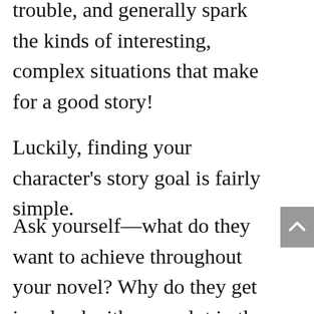trouble, and generally spark the kinds of interesting, complex situations that make for a good story!
Luckily, finding your character's story goal is fairly simple.
Ask yourself—what do they want to achieve throughout your novel? Why do they get involved with your plot in the first place? What motivates them to take action? Once you answer these questions, you should have a solid idea of what story goal your character is pursuing.